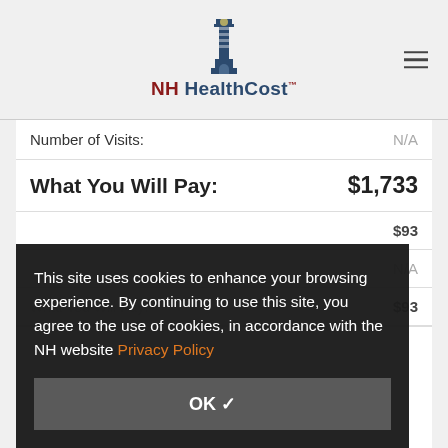[Figure (logo): NH HealthCost lighthouse logo with brand name]
| Label | Value |
| --- | --- |
| Number of Visits: | N/A |
| What You Will Pay: | $1,733 |
|  | $93 |
|  | N/A |
| What You Will Pay: | $93 |
This site uses cookies to enhance your browsing experience. By continuing to use this site, you agree to the use of cookies, in accordance with the NH website Privacy Policy
OK ✓